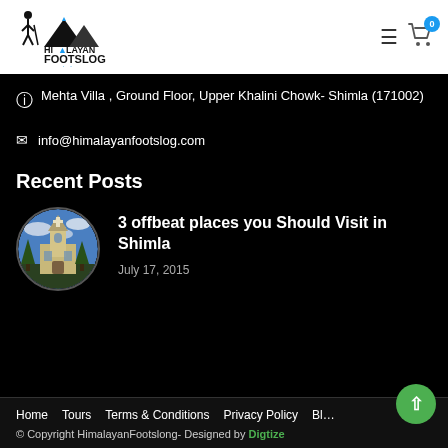[Figure (logo): Himalayan Footslog logo with hiker silhouette and mountain peaks, text 'HI LAYAN FOOTSLOG we make it easy']
Mehta Villa , Ground Floor, Upper Khalini Chowk- Shimla (171002)
info@himalayanfootslog.com
Recent Posts
[Figure (photo): Circular thumbnail photo of a church building with blue sky and clouds, appearing to be Christ Church Shimla]
3 offbeat places you Should Visit in Shimla
July 17, 2015
Home  Tours  Terms & Conditions  Privacy Policy  Bl… © Copyright HimalayanFootslong- Designed by Digtize